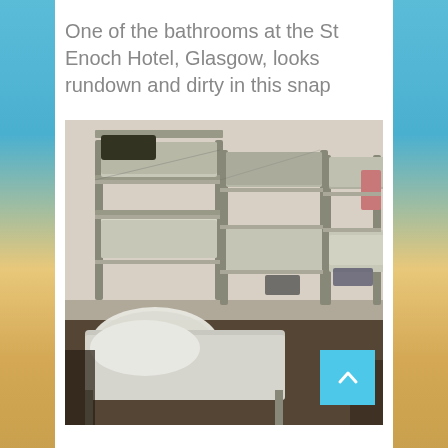One of the bathrooms at the St Enoch Hotel, Glasgow, looks rundown and dirty in this snap
[Figure (photo): Interior photo showing multiple metal bunk beds crowded in a small room at the St Enoch Hotel, Glasgow. The beds have white/grey bedding in disarray, with clothes and items scattered on them. The room has plain walls and appears cramped and unkempt.]